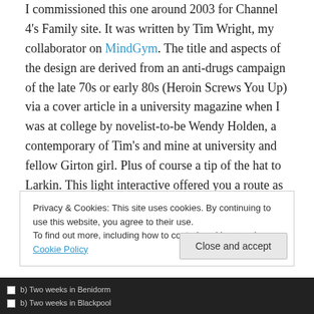I commissioned this one around 2003 for Channel 4's Family site. It was written by Tim Wright, my collaborator on MindGym. The title and aspects of the design are derived from an anti-drugs campaign of the late 70s or early 80s (Heroin Screws You Up) via a cover article in a university magazine when I was at college by novelist-to-be Wendy Holden, a contemporary of Tim's and mine at university and fellow Girton girl. Plus of course a tip of the hat to Larkin. This light interactive offered you a route as a parent or as a child. It was commissioned at the same time as The Showbiz Baby Name Generator.
Privacy & Cookies: This site uses cookies. By continuing to use this website, you agree to their use.
To find out more, including how to control cookies, see here: Cookie Policy
Close and accept
b) Two weeks in Benidorm
b) Two weeks in Blackpool